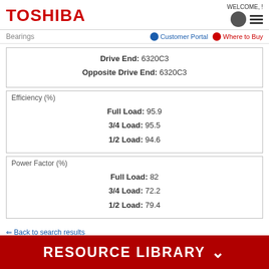TOSHIBA | WELCOME, !
Bearings | Customer Portal | Where to Buy
| Field | Value |
| --- | --- |
| Drive End: | 6320C3 |
| Opposite Drive End: | 6320C3 |
| Efficiency (%) | Value |
| --- | --- |
| Full Load: | 95.9 |
| 3/4 Load: | 95.5 |
| 1/2 Load: | 94.6 |
| Power Factor (%) | Value |
| --- | --- |
| Full Load: | 82 |
| 3/4 Load: | 72.2 |
| 1/2 Load: | 79.4 |
⇐ Back to search results
RESOURCE LIBRARY